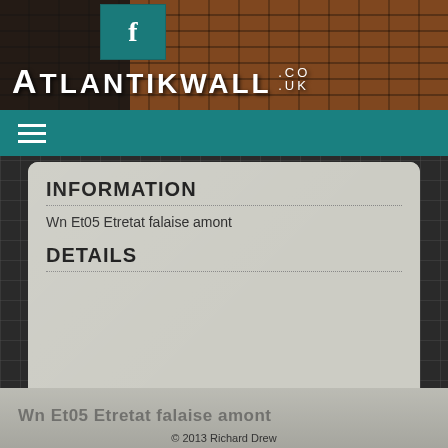[Figure (screenshot): Website header banner with brick wall texture background, dark overlay on left, Facebook icon in teal box, and Atlantikwall.co.uk site title in white]
[Figure (screenshot): Teal navigation bar with hamburger menu icon (three horizontal white lines)]
INFORMATION
Wn Et05 Etretat falaise amont
DETAILS
[Figure (screenshot): Bottom panel showing partial bunker-shaped image with text 'Wn Et05 Etretat falaise amont' overlaid]
© 2013 Richard Drew